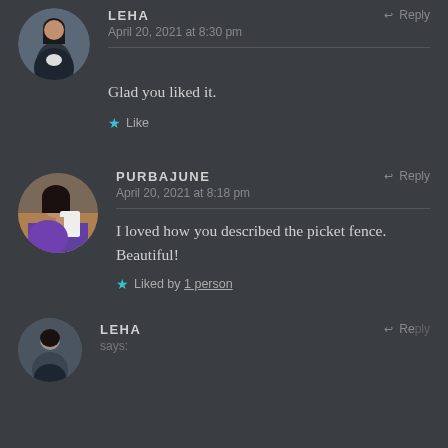LEHA says: April 20, 2021 at 8:30 pm — Glad you liked it. ★ Like
PURBAJUNE says: April 20, 2021 at 8:18 pm — I loved how you described the picket fence. Beautiful! ★ Liked by 1 person
LEHA says: (partial, continues below)